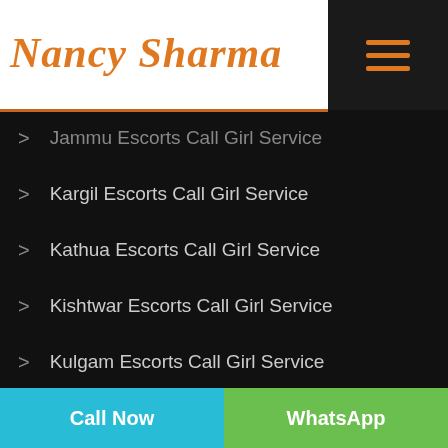[Figure (logo): Nancy Sharma script logo in orange italic text on white background with orange bottom border, and hamburger menu icon on dark background]
Jammu Escorts Call Girl Service
Kargil Escorts Call Girl Service
Kathua Escorts Call Girl Service
Kishtwar Escorts Call Girl Service
Kulgam Escorts Call Girl Service
Kupwara Escorts Call Girl Service
Leh Ladakh Escorts Call Girl Service
Pulwama Escorts Call Girl Service
Poonch Escorts Call Girl Service
Call Now
WhatsApp